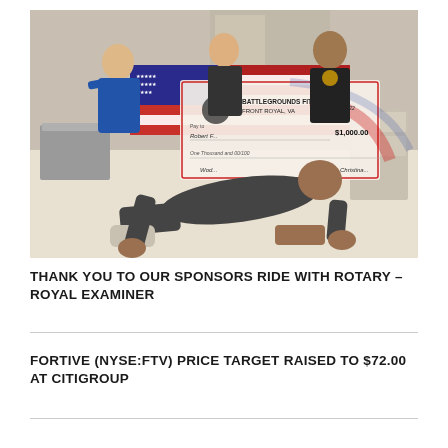[Figure (photo): A man doing a push-up pose on the floor in front of three people holding a large ceremonial check from Battlegrounds Fitness, Front Royal, VA, dated March 30, 2022 for $1,000.00, with an American flag visible behind them in what appears to be a community hall.]
THANK YOU TO OUR SPONSORS RIDE WITH ROTARY – ROYAL EXAMINER
FORTIVE (NYSE:FTV) PRICE TARGET RAISED TO $72.00 AT CITIGROUP